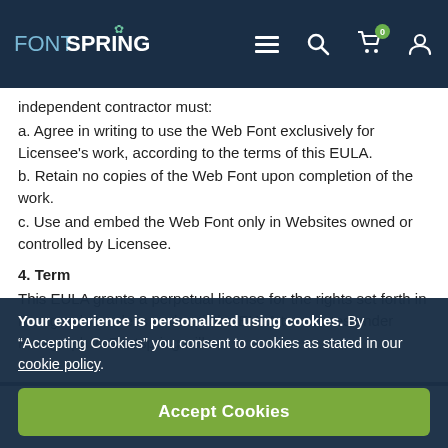FONTSPRING navigation bar with logo, menu, search, cart (0), and user icons
independent contractor must:
a. Agree in writing to use the Web Font exclusively for Licensee's work, according to the terms of this EULA.
b. Retain no copies of the Web Font upon completion of the work.
c. Use and embed the Web Font only in Websites owned or controlled by Licensee.
4. Term
This EULA grants a perpetual license for the rights set forth in Paragraph 1 unless and until the EULA terminates under Paragraph 7. Fontspring will not
Your experience is personalized using cookies. By “Accepting Cookies” you consent to cookies as stated in our cookie policy.
Accept Cookies